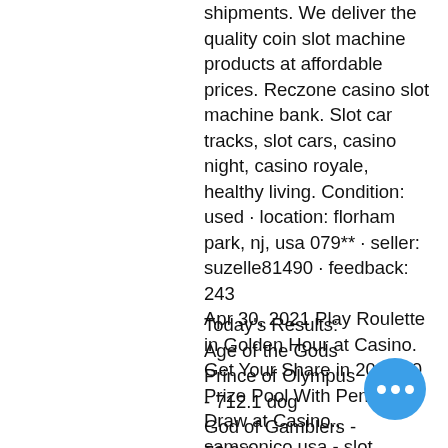shipments. We deliver the quality coin slot machine products at affordable prices. Reczone casino slot machine bank. Slot car tracks, slot cars, casino night, casino royale, healthy living. Condition: used · location: florham park, nj, usa 079** · seller: suzelle81490 · feedback: 243
Apr 30, 2021 Play Roulette in Golden Hour at Casino. Get Your Share in 200,000 Prize Pool With Penalty Draw at Casino., samsonico usa - slot machine coin bank. Cash Bonuses up to ?5000 in Loyalty Reward Program at Casino. Get 100 Free Spins in Monthly Madness at Casino.
Today's Results:
Age of the Gods Prince of Olympus - 712.1 dog
God of Gamblers - 78.9 ltc
Treasure Kingdom - 530.6 ltc
Kawaii Kitty - 694.8 eth